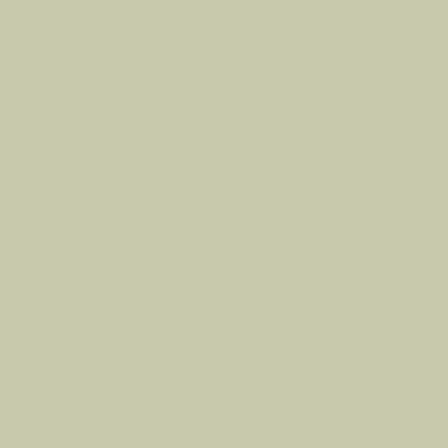Godd@mhit, Reagan's President and Clint Eastwood has his own police force.
Sam Kinison on homelessness...
You give 'em the test. You sit 'em down and you